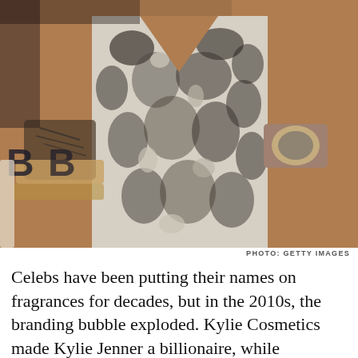[Figure (photo): Close-up photo of a person wearing a snakeskin-print strapless dress, with tattoos and bracelets visible on their wrists. Letters 'B B' visible in background. Photo credit: Getty Images.]
PHOTO: GETTY IMAGES
Celebs have been putting their names on fragrances for decades, but in the 2010s, the branding bubble exploded. Kylie Cosmetics made Kylie Jenner a billionaire, while Rihanna's Fenty Beauty became a